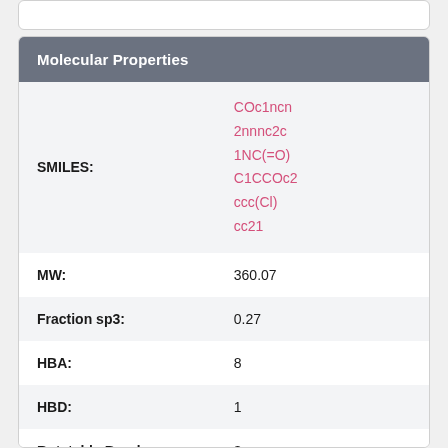| Property | Value |
| --- | --- |
| SMILES: | COc1ncn2nnnc2c1NC(=O)C1CCOc2ccc(Cl)cc21 |
| MW: | 360.07 |
| Fraction sp3: | 0.27 |
| HBA: | 8 |
| HBD: | 1 |
| Rotatable Bonds: | 3 |